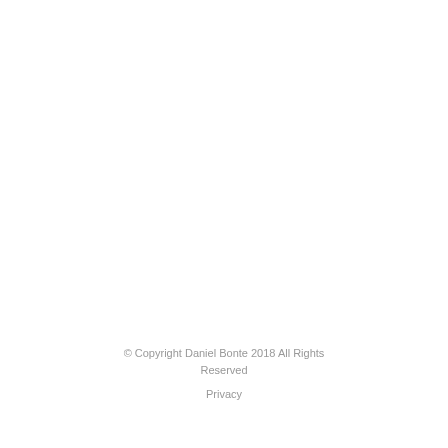© Copyright Daniel Bonte 2018 All Rights Reserved
Privacy